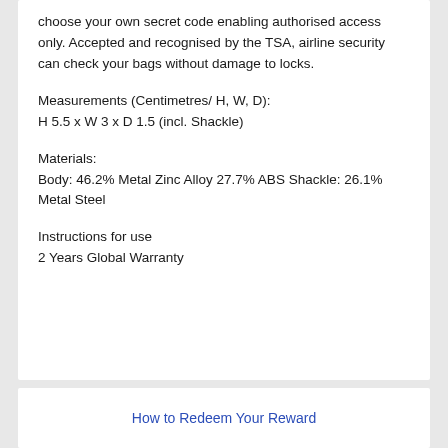choose your own secret code enabling authorised access only. Accepted and recognised by the TSA, airline security can check your bags without damage to locks.
Measurements (Centimetres/ H, W, D):
H 5.5 x W 3 x D 1.5 (incl. Shackle)
Materials:
Body: 46.2% Metal Zinc Alloy 27.7% ABS Shackle: 26.1% Metal Steel
Instructions for use
2 Years Global Warranty
How to Redeem Your Reward